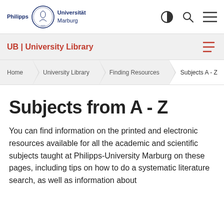Philipps Universität Marburg
UB | University Library
Home > University Library > Finding Resources > Subjects A - Z
Subjects from A - Z
You can find information on the printed and electronic resources available for all the academic and scientific subjects taught at Philipps-University Marburg on these pages, including tips on how to do a systematic literature search, as well as information about